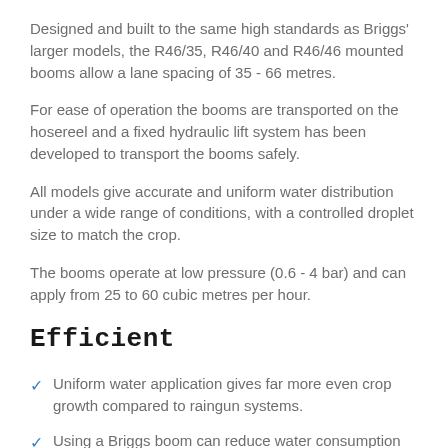Designed and built to the same high standards as Briggs' larger models, the R46/35, R46/40 and R46/46 mounted booms allow a lane spacing of 35 - 66 metres.
For ease of operation the booms are transported on the hosereel and a fixed hydraulic lift system has been developed to transport the booms safely.
All models give accurate and uniform water distribution under a wide range of conditions, with a controlled droplet size to match the crop.
The booms operate at low pressure (0.6 - 4 bar) and can apply from 25 to 60 cubic metres per hour.
Efficient
Uniform water application gives far more even crop growth compared to raingun systems.
Using a Briggs boom can reduce water consumption by 20%